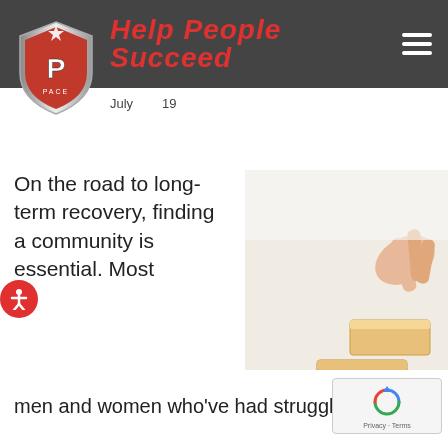Help People Succeed
[Figure (logo): PACE shield logo with red and silver design and letter P in center]
July 2019
On the road to long-term recovery, finding a community is essential. Most men and women who've had struggles with dru...
[Figure (photo): Hand placing wooden block on top of staircase-shaped stack of wooden blocks on white background]